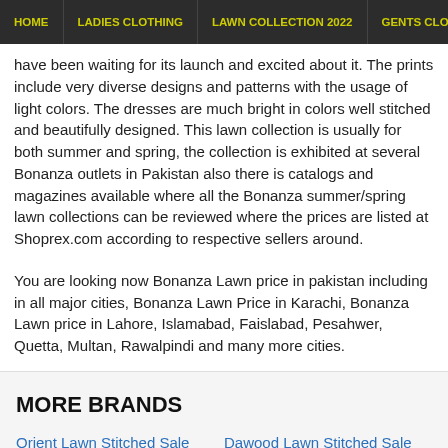HOME | LADIES CLOTHING | LAWN COLLECTION 2022 | GENTS CLOTHING
have been waiting for its launch and excited about it. The prints include very diverse designs and patterns with the usage of light colors. The dresses are much bright in colors well stitched and beautifully designed. This lawn collection is usually for both summer and spring, the collection is exhibited at several Bonanza outlets in Pakistan also there is catalogs and magazines available where all the Bonanza summer/spring lawn collections can be reviewed where the prices are listed at Shoprex.com according to respective sellers around.
You are looking now Bonanza Lawn price in pakistan including in all major cities, Bonanza Lawn Price in Karachi, Bonanza Lawn price in Lahore, Islamabad, Faislabad, Pesahwer, Quetta, Multan, Rawalpindi and many more cities.
MORE BRANDS
Orient Lawn Stitched Sale
Mausummery Lawn Stitched Sale
Dawood Lawn Stitched Sale
Popular Lawn Stitched Sale
Zam Zam Lawn Stitched Sale